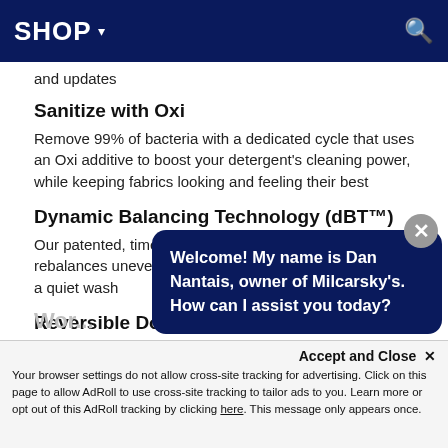SHOP ▾
and updates
Sanitize with Oxi
Remove 99% of bacteria with a dedicated cycle that uses an Oxi additive to boost your detergent's cleaning power, while keeping fabrics looking and feeling their best
Dynamic Balancing Technology (dBT™)
Our patented, time saving technology senses and rebalances uneven loads during the spin cycle, providing a quiet wash
Reversible Door
Eas... sup...
32-
Fits
Welcome! My name is Dan Nantais, owner of Milcarsky's. How can I assist you today?
Your browser settings do not allow cross-site tracking for advertising. Click on this page to allow AdRoll to use cross-site tracking to tailor ads to you. Learn more or opt out of this AdRoll tracking by clicking here. This message only appears once.